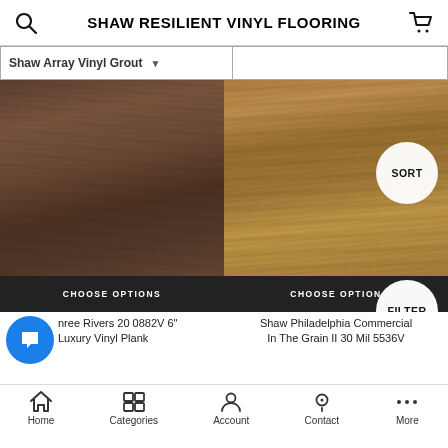SHAW RESILIENT VINYL FLOORING
Shaw Array Vinyl Grout
[Figure (photo): Dark brown wood grain vinyl plank flooring texture - Three Rivers 20 0882V 6" Luxury Vinyl Plank]
[Figure (photo): Golden brown wood grain vinyl flooring texture - Shaw Philadelphia Commercial In The Grain II 30 Mil 5536V]
CHOOSE OPTIONS
CHOOSE OPTIONS
SORT
FILTER
nree Rivers 20 0882V 6" Luxury Vinyl Plank
Shaw Philadelphia Commercial In The Grain II 30 Mil 5536V
Home   Categories   Account   Contact   More